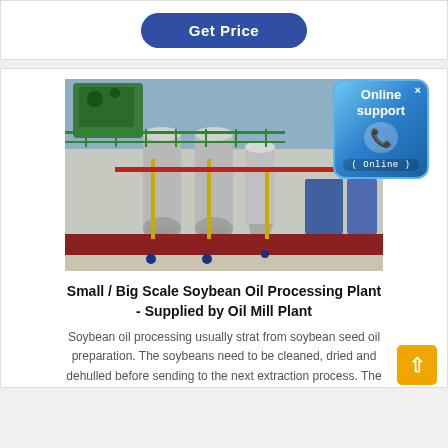[Figure (other): Blue rounded button labeled 'Get Price']
[Figure (photo): Industrial soybean oil processing plant equipment — large grey metal tanks with red frame structure, pipes, green railing, inside a factory floor. Overlaid with an 'Online support' chat badge in the upper right corner.]
Small / Big Scale Soybean Oil Processing Plant - Supplied by Oil Mill Plant
Soybean oil processing usually strat from soybean seed oil preparation. The soybeans need to be cleaned, dried and dehulled before sending to the next extraction process. The